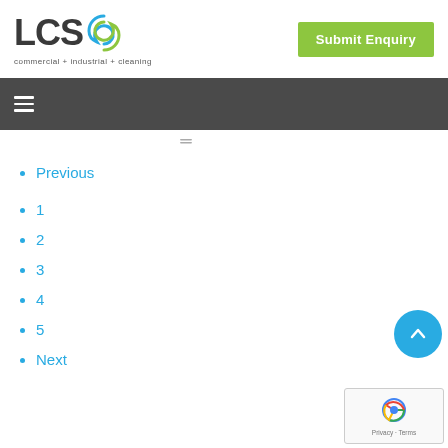[Figure (logo): LCS logo with swirl icon and tagline 'commercial + industrial + cleaning']
[Figure (other): Green 'Submit Enquiry' button]
[Figure (other): Dark grey navigation bar with hamburger menu icon]
Previous
1
2
3
4
5
Next
[Figure (other): Cyan circular scroll-to-top button with upward arrow]
[Figure (other): reCAPTCHA badge with Google logo and Privacy - Terms text]